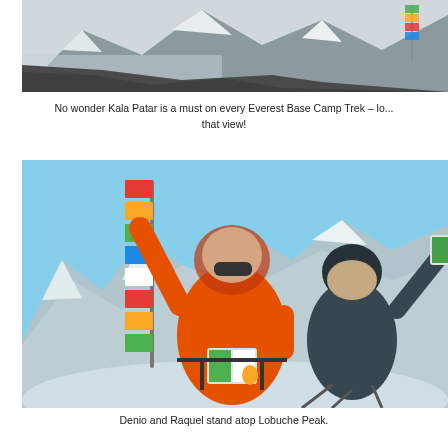[Figure (photo): Aerial/landscape view of a snow-covered Himalayan mountain scene with glaciers and prayer flags visible on the right side]
No wonder Kala Patar is a must on every Everest Base Camp Trek – lo... that view!
[Figure (photo): Two mountaineers, Denio and Raquel, standing atop Lobuche Peak. One is wearing an orange jacket and holding a book, the other in dark clothing also holding a book. Colorful prayer flags are visible on a pole beside them, with snowy mountain peaks in the background.]
Denio and Raquel stand atop Lobuche Peak.